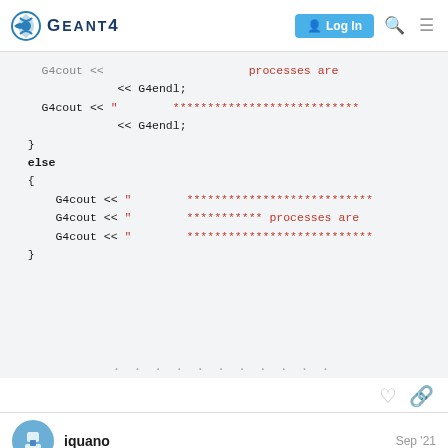Geant4 | Log In
[Figure (screenshot): Code snippet in a monospaced code block showing C++ Geant4 code with G4cout statements and else block, with red highlighted string literals and asterisk patterns]
iquano  Sep '21
In Geant410.7 example, in Advanced files, there is a